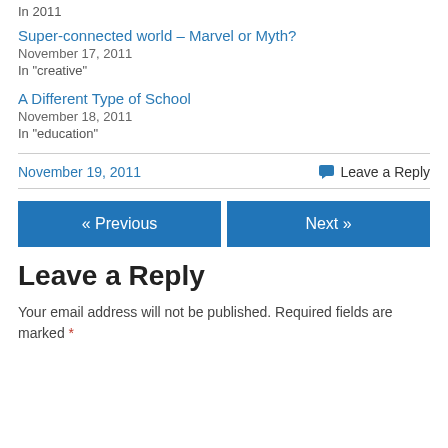In 2011
Super-connected world – Marvel or Myth?
November 17, 2011
In "creative"
A Different Type of School
November 18, 2011
In "education"
November 19, 2011
Leave a Reply
« Previous
Next »
Leave a Reply
Your email address will not be published. Required fields are marked *